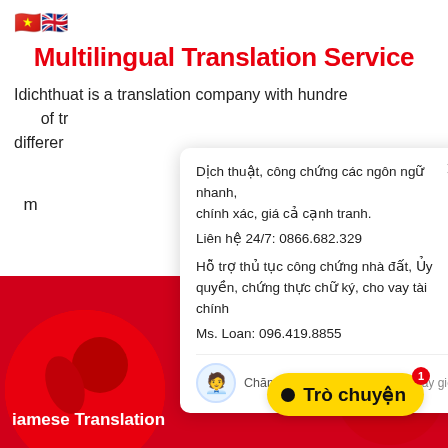[Figure (illustration): Vietnamese and UK flag emojis]
Multilingual Translation Service
Idichthuat is a translation company with hundreds of translators in different languages m
[Figure (screenshot): Popup chat widget showing: Dịch thuật, công chứng các ngôn ngữ nhanh, chính xác, giá cả cạnh tranh. Liên hệ 24/7: 0866.682.329. Hỗ trợ thủ tục công chứng nhà đất, Ủy quyền, chứng thực chữ ký, cho vay tài chính. Ms. Loan: 096.419.8855. Chăm Sóc Khách Hàng - ngay bây giờ]
iamese Translation
[Figure (illustration): Yellow Trò chuyện (chat) button with red notification badge showing 1]